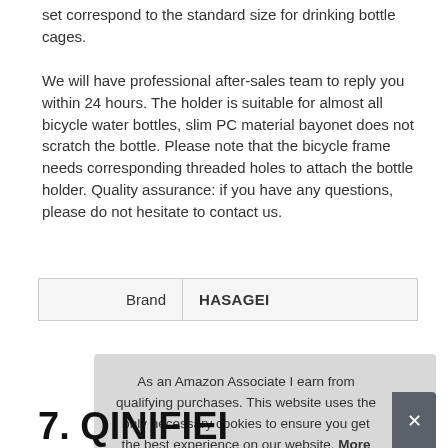set correspond to the standard size for drinking bottle cages.
We will have professional after-sales team to reply you within 24 hours. The holder is suitable for almost all bicycle water bottles, slim PC material bayonet does not scratch the bottle. Please note that the bicycle frame needs corresponding threaded holes to attach the bottle holder. Quality assurance: if you have any questions, please do not hesitate to contact us.
| Brand |  |
| --- | --- |
| Brand | HASAGEI |
As an Amazon Associate I earn from qualifying purchases. This website uses the only necessary cookies to ensure you get the best experience on our website. More information
7. QINIFIEI